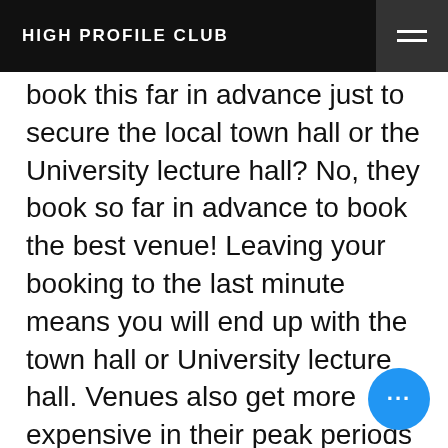HIGH PROFILE CLUB
book this far in advance just to secure the local town hall or the University lecture hall? No, they book so far in advance to book the best venue! Leaving your booking to the last minute means you will end up with the town hall or University lecture hall. Venues also get more expensive in their peak periods so while they may have a few slots available, it’s probably going to cost you your house. Moreso, your venue is one of the biggest selling points for your attendees. If it’s convenient